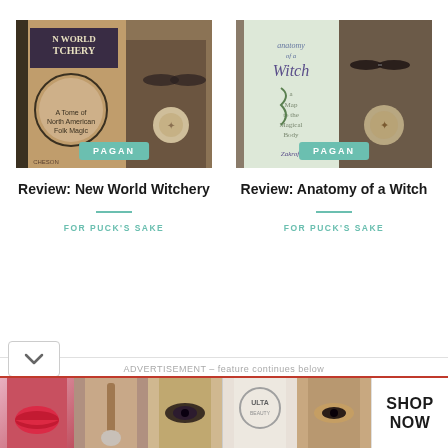[Figure (photo): Book cover photo of 'New World Witchery' with a PAGAN category badge overlay at bottom]
[Figure (photo): Book cover photo of 'Anatomy of a Witch' with a PAGAN category badge overlay at bottom]
Review: New World Witchery
Review: Anatomy of a Witch
FOR PUCK'S SAKE
FOR PUCK'S SAKE
ADVERTISEMENT – feature continues below
[Figure (photo): Ulta Beauty advertisement strip showing makeup/cosmetics images and SHOP NOW button]